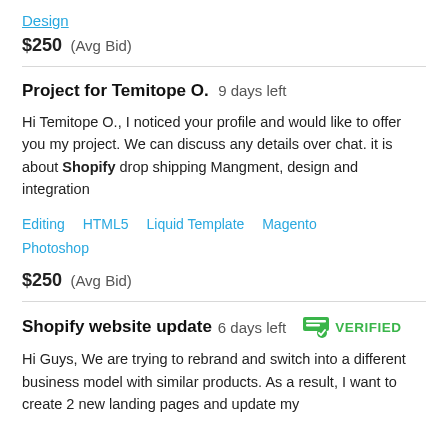Design
$250  (Avg Bid)
Project for Temitope O.  9 days left
Hi Temitope O., I noticed your profile and would like to offer you my project. We can discuss any details over chat. it is about Shopify drop shipping Mangment, design and integration
Editing  HTML5  Liquid Template  Magento  Photoshop
$250  (Avg Bid)
Shopify website update  6 days left  VERIFIED
Hi Guys, We are trying to rebrand and switch into a different business model with similar products. As a result, I want to create 2 new landing pages and update my